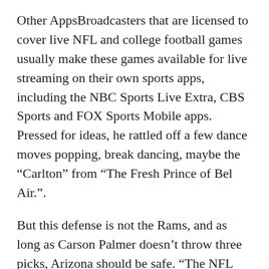Other AppsBroadcasters that are licensed to cover live NFL and college football games usually make these games available for live streaming on their own sports apps, including the NBC Sports Live Extra, CBS Sports and FOX Sports Mobile apps. Pressed for ideas, he rattled off a few dance moves popping, break dancing, maybe the “Carlton” from “The Fresh Prince of Bel Air.”.
But this defense is not the Rams, and as long as Carson Palmer doesn’t throw three picks, Arizona should be safe. “The NFL has all sorts of rules and regulations. Regulators in other states have argued that in daily fantasy football games, the element of luck becomes a huge factor.
4, the Thursday before the game.. Stu Schuyler, Nick’s father, said his son had gone fishing with the same group of friends last weekend, apparently en route to a